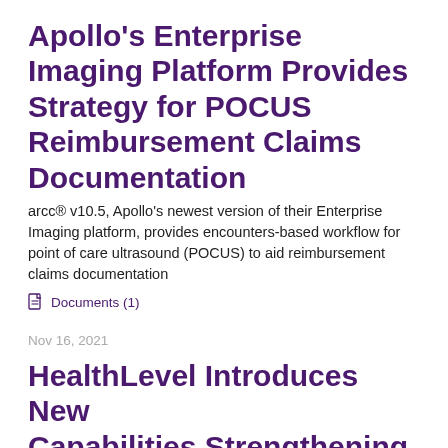Apollo's Enterprise Imaging Platform Provides Strategy for POCUS Reimbursement Claims Documentation
arcc® v10.5, Apollo's newest version of their Enterprise Imaging platform, provides encounters-based workflow for point of care ultrasound (POCUS) to aid reimbursement claims documentation
Documents (1)
Nov 16, 2021
HealthLevel Introduces New Capabilities Strengthening its